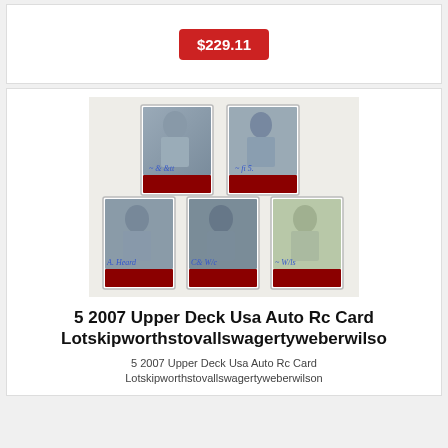$229.11
[Figure (photo): Five 2007 Upper Deck USA auto rookie baseball cards arranged in a pyramid: two on top row and three on bottom row, each showing player photos with blue ink signatures and red card bottoms.]
5 2007 Upper Deck Usa Auto Rc Card Lotskipworthstovallswagertyweberwilso
5 2007 Upper Deck Usa Auto Rc Card Lotskipworthstovallswagertyweberwilson